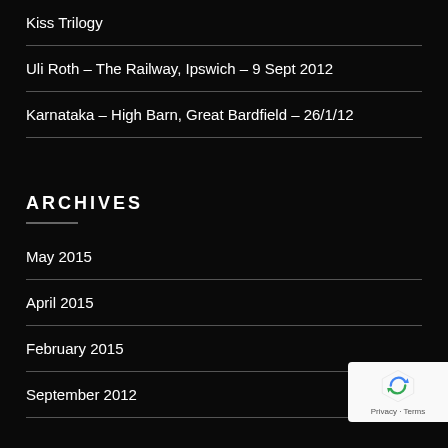Kiss Trilogy
Uli Roth – The Railway, Ipswich – 9 Sept 2012
Karnataka – High Barn, Great Bardfield – 26/1/12
ARCHIVES
May 2015
April 2015
February 2015
September 2012